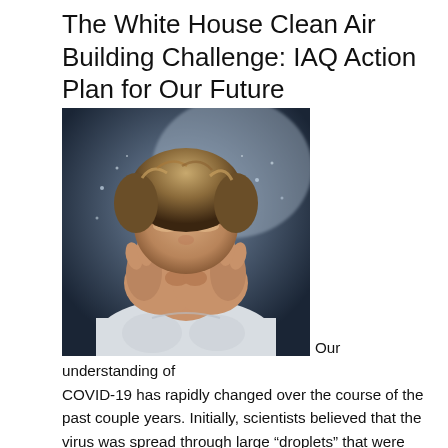The White House Clean Air Building Challenge: IAQ Action Plan for Our Future
[Figure (photo): Person covering their face with both hands, appearing to sneeze or cough, wearing a white shirt, dramatic lighting with water droplets visible]
Our understanding of COVID-19 has rapidly changed over the course of the past couple years. Initially, scientists believed that the virus was spread through large “droplets” that were expressed through talking, sneezing and coughing. These droplets were thought to be heavy enough to drop through the air rather quickly (within an average of 6